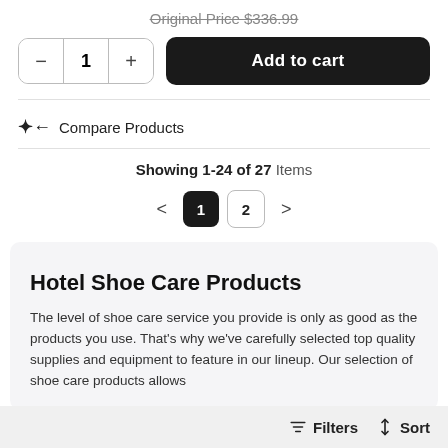Original Price $336.99
- 1 + Add to cart
Compare Products
Showing 1-24 of 27 Items
< 1 2 >
Hotel Shoe Care Products
The level of shoe care service you provide is only as good as the products you use. That's why we've carefully selected top quality supplies and equipment to feature in our lineup. Our selection of shoe care products allows
Filters  Sort